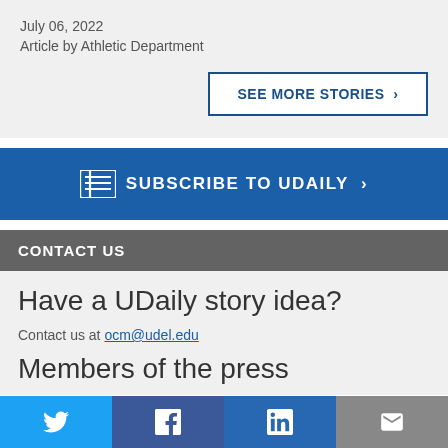July 06, 2022
Article by Athletic Department
SEE MORE STORIES >
SUBSCRIBE TO UDAILY >
CONTACT US
Have a UDaily story idea?
Contact us at ocm@udel.edu
Members of the press